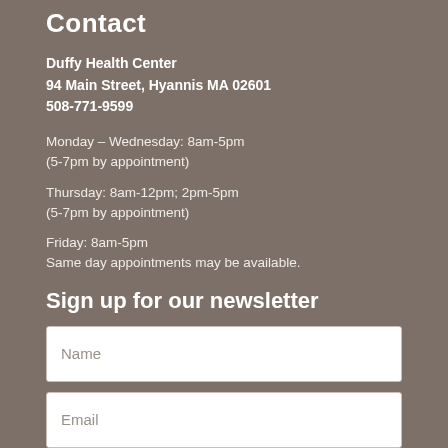Contact
Duffy Health Center
94 Main Street, Hyannis MA 02601
508-771-9599
Monday – Wednesday: 8am-5pm
(5-7pm by appointment)
Thursday: 8am-12pm; 2pm-5pm
(5-7pm by appointment)
Friday: 8am-5pm
Same day appointments may be available.
Sign up for our newsletter
Name
Email